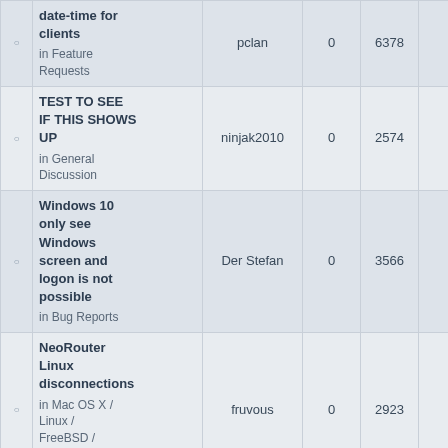|  | Topic | Author | Replies | Views | Last Post |
| --- | --- | --- | --- | --- | --- |
| ○ | date-time for clients
in Feature Requests | pclan | 0 | 6378 | Sat Ma 6:
pc |
| ○ | TEST TO SEE IF THIS SHOWS UP
in General Discussion | ninjak2010 | 0 | 2574 | Thu Fe 10
ninjak |
| ○ | Windows 10 only see Windows screen and logon is not possible
in Bug Reports | Der Stefan | 0 | 3566 | Sun Se 4:
Der S |
| ○ | NeoRouter Linux disconnections
in Mac OS X / Linux / FreeBSD / Android / in-a-box | fruvous | 0 | 2923 | Sat Se 4:
fruv |
| ○ | Neorouter Pro |  |  |  |  |